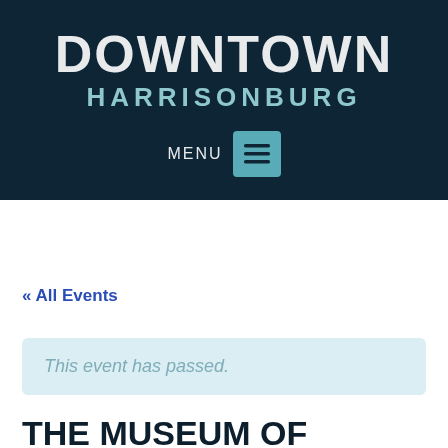DOWNTOWN HARRISONBURG
MENU
« All Events
This event has passed.
THE MUSEUM OF THE OLD COLONY: AN ART INSTALLATION BY PABLO DELANO